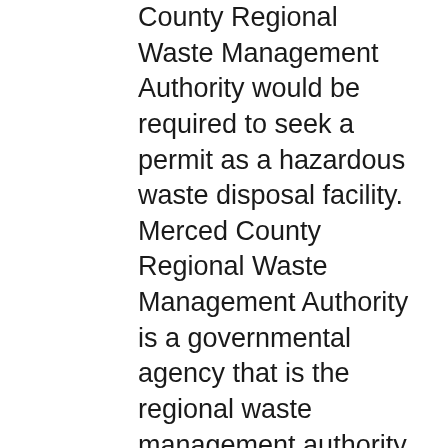County Regional Waste Management Authority would be required to seek a permit as a hazardous waste disposal facility. Merced County Regional Waste Management Authority is a governmental agency that is the regional waste management authority for Merced County. Project Activities: Under the variance, the Facility will accept treated wood waste from generators, and authorized handlers and/or transporters for disposal, however it will be managed as a California